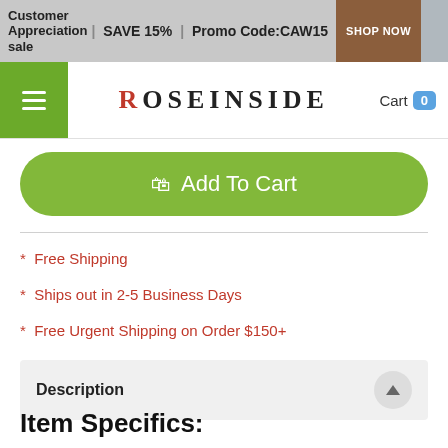Customer Appreciation sale | SAVE 15% | Promo Code:CAW15 | SHOP NOW
ROSEINSIDE — Cart 0
Add To Cart
* Free Shipping
* Ships out in 2-5 Business Days
* Free Urgent Shipping on Order $150+
Description
Item Specifics: